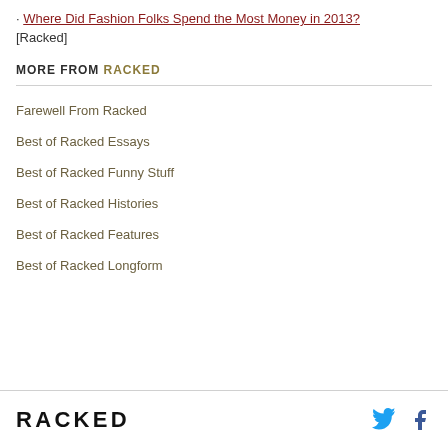· Where Did Fashion Folks Spend the Most Money in 2013? [Racked]
MORE FROM RACKED
Farewell From Racked
Best of Racked Essays
Best of Racked Funny Stuff
Best of Racked Histories
Best of Racked Features
Best of Racked Longform
RACKED